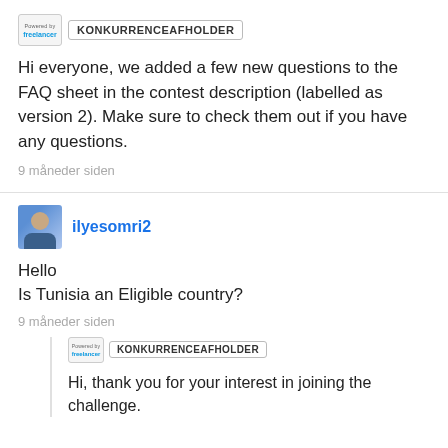[Figure (logo): Freelancer.com powered-by logo badge with KONKURRENCEAFHOLDER label]
Hi everyone, we added a few new questions to the FAQ sheet in the contest description (labelled as version 2). Make sure to check them out if you have any questions.
9 måneder siden
[Figure (photo): User avatar for ilyesomri2]
ilyesomri2
Hello
Is Tunisia an Eligible country?
9 måneder siden
[Figure (logo): Freelancer.com powered-by logo badge with KONKURRENCEAFHOLDER label (reply)]
Hi, thank you for your interest in joining the challenge.